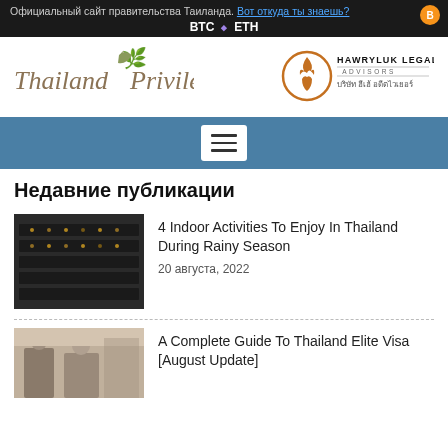Официальный сайт правительства Таиланда. Вот откуда ты знаешь? BTC ETH
[Figure (logo): Thailand Privilege logo - italic serif text with leaf ornament]
[Figure (logo): Hawryluk Legal Advisors logo - circular flame emblem with company name]
Недавние публикации
[Figure (photo): Indoor photo showing rows of dark surfaces with small lights, possibly a casino or gaming hall]
4 Indoor Activities To Enjoy In Thailand During Rainy Season
20 августа, 2022
[Figure (photo): Photo of people in a shopping or exhibition area]
A Complete Guide To Thailand Elite Visa [August Update]